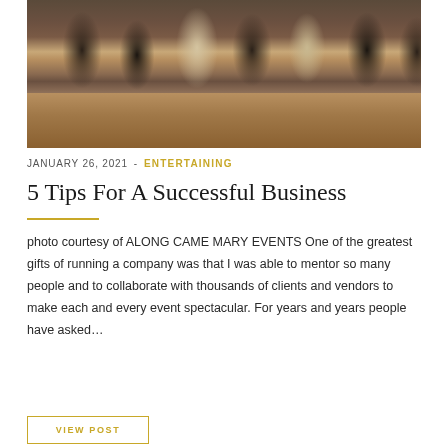[Figure (photo): Group of people posing together at what appears to be a formal dinner event, with purple floral centerpieces on the table in the foreground.]
JANUARY 26, 2021  -  ENTERTAINING
5 Tips For A Successful Business
photo courtesy of ALONG CAME MARY EVENTS One of the greatest gifts of running a company was that I was able to mentor so many people and to collaborate with thousands of clients and vendors to make each and every event spectacular. For years and years people have asked…
VIEW POST